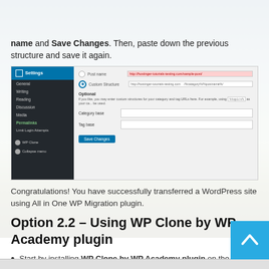name and Save Changes. Then, paste down the previous structure and save it again.
[Figure (screenshot): WordPress admin Settings > Permalinks panel showing Post name and Custom Structure options with URL fields, Optional section with Category base and Tag base fields, and a Save Changes button]
Congratulations! You have successfully transferred a WordPress site using All in One WP Migration plugin.
Option 2.2 – Using WP Clone by WP Academy plugin
Start by installing WP Clone by WP Academy plugin on the WordPress site you want to migrate.